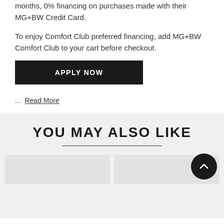months, 0% financing on purchases made with their MG+BW Credit Card.
To enjoy Comfort Club preferred financing, add MG+BW Comfort Club to your cart before checkout.
APPLY NOW
... Read More
YOU MAY ALSO LIKE
$7,994.00 Regular
$5,996.00 Club